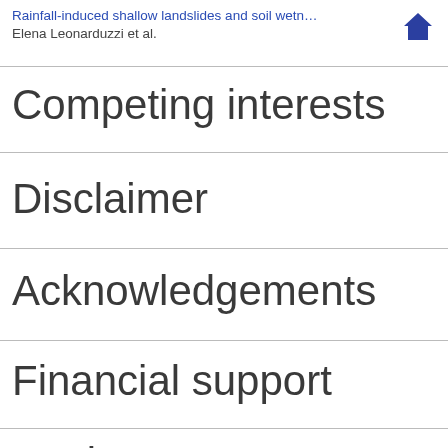Author contributions
Rainfall-induced shallow landslides and soil wetn…
Elena Leonarduzzi et al.
Competing interests
Disclaimer
Acknowledgements
Financial support
Review statement